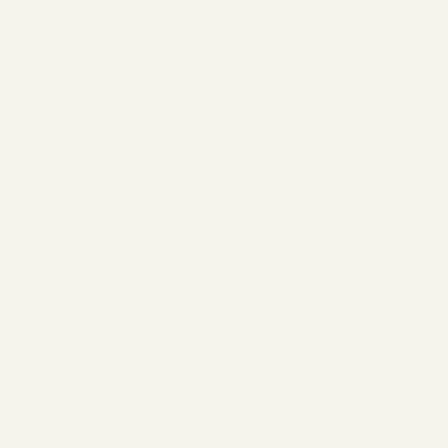Shockwave Therapy
The body has small, effect and ease fricti or inflamed.
The sacs are also lo inflamed. The frequ muscles and the exte
Extracorporeal shoc treated with trigger p
The MASTERPULS
Stiff Big Toe
Shockwave Therapy
The stiff big toe, als metatarsophalangeal
Timely treatment is